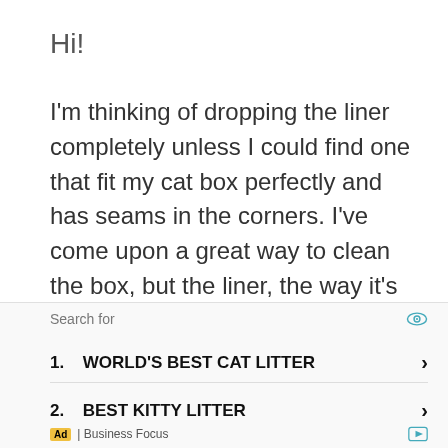Hi!
I'm thinking of dropping the liner completely unless I could find one that fit my cat box perfectly and has seams in the corners. I've come upon a great way to clean the box, but the liner, the way it's constructed, has part of the plastic at the bottom coming up and getting litter under it, which frustrates my method. Not a hole, but the way the liner is constructed
Search for
1. WORLD'S BEST CAT LITTER
2. BEST KITTY LITTER
Ad | Business Focus